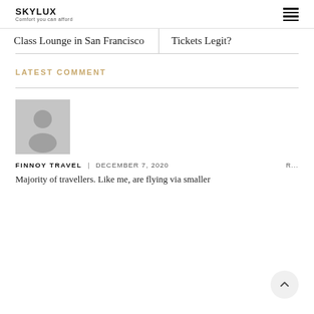SKYLUX | Comfort you can afford
Class Lounge in San Francisco
Tickets Legit?
LATEST COMMENT
[Figure (photo): Default user avatar placeholder — grey silhouette of a person on grey background]
FINNOY TRAVEL | DECEMBER 7, 2020 R...
Majority of travellers. Like me, are flying via smaller